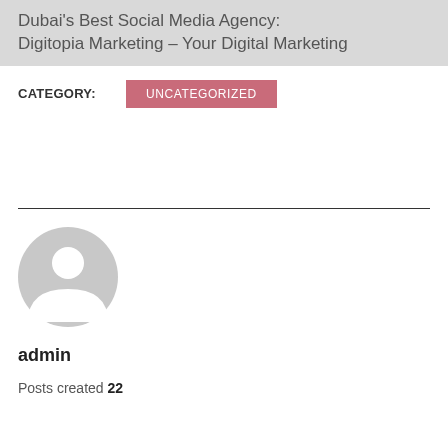Dubai's Best Social Media Agency: Digitopia Marketing – Your Digital Marketing
CATEGORY: UNCATEGORIZED
[Figure (illustration): Generic user avatar icon — grey circle with white silhouette of a person (head and shoulders)]
admin
Posts created 22